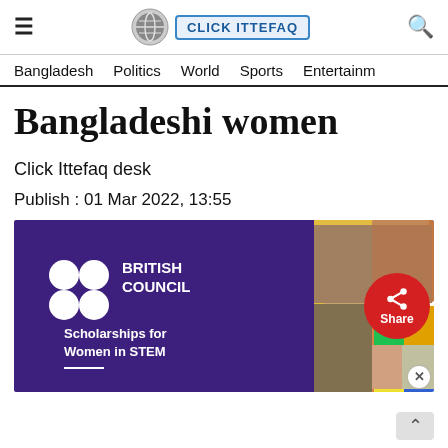≡  CLICK ITTEFAQ  🔍
Bangladesh  Politics  World  Sports  Entertainm
Bangladeshi women
Click Ittefaq desk
Publish : 01 Mar 2022, 13:55
[Figure (photo): British Council advertisement banner promoting Scholarships for Women in STEM, showing a collage of women in educational/scientific settings on a purple and multicolored background.]